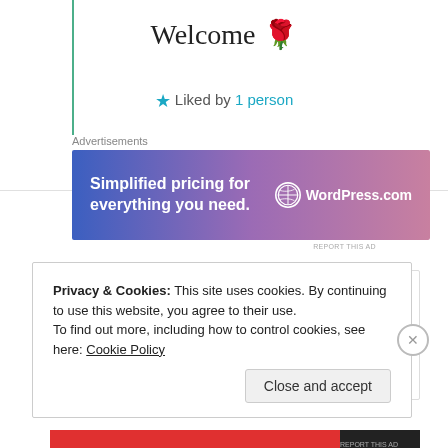Welcome 🌹
★ Liked by 1 person
Advertisements
[Figure (other): WordPress.com advertisement banner: 'Simplified pricing for everything you need.' with WordPress.com logo]
REPORT THIS AD
juanmiguelesteban
25th Jun 2021 at 4:56 pm
Privacy & Cookies: This site uses cookies. By continuing to use this website, you agree to their use.
To find out more, including how to control cookies, see here: Cookie Policy
Close and accept